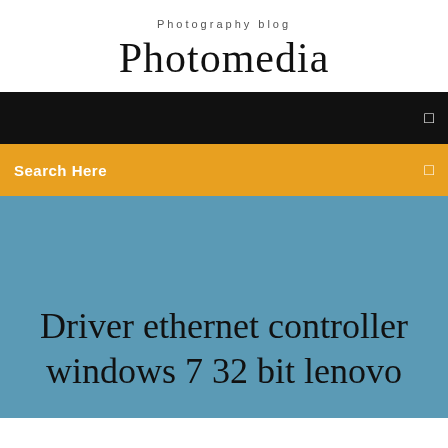Photography blog
Photomedia
[Figure (screenshot): Black navigation bar with a small square icon on the right]
Search Here
Driver ethernet controller windows 7 32 bit lenovo